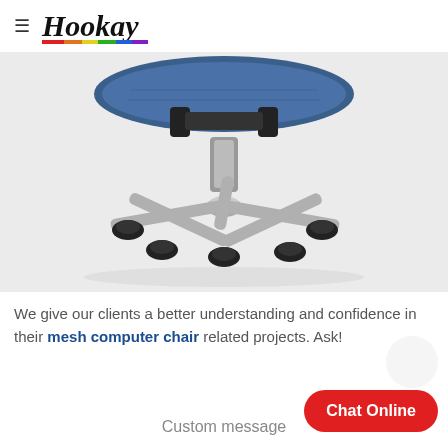Hookay
[Figure (photo): Bottom view of an ergonomic mesh computer office chair with blue seat, chrome five-star base and caster wheels, on a light gray background]
We give our clients a better understanding and confidence in their mesh computer chair related projects. Ask!
Chat Online
Custom message